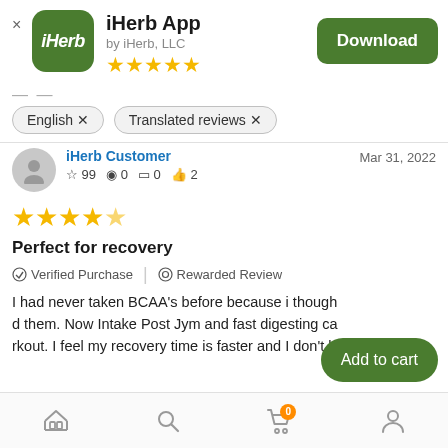[Figure (logo): iHerb app logo - green rounded square with iHerb text]
iHerb App
by iHerb, LLC
★★★★★ (5 stars)
Download
English × Translated reviews ×
iHerb Customer Mar 31, 2022 ☆ 99 ⊙ 0 ⊡ 0 👍 2
★★★★★ (5 stars review)
Perfect for recovery
✓ Verified Purchase | ⊙ Rewarded Review
I had never taken BCAA's before because i though d them. Now Intake Post Jym and fast digesting ca rkout. I feel my recovery time is faster and I don't have a massiv
Add to cart